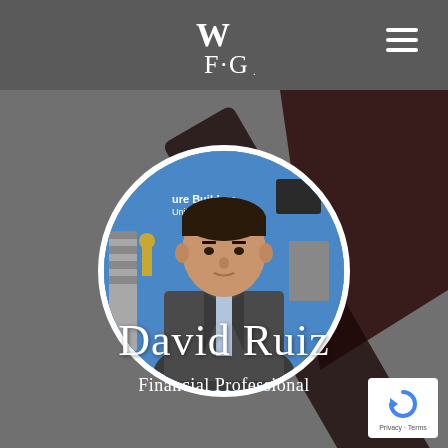WFG
[Figure (photo): Circular profile photo of David Ruiz, a man in a grey suit jacket and light blue shirt, seated in front of a blue wall with 'Future Builders United in...' banner visible in the background, along with office furniture and shelving.]
David Ruiz
Financial Professional
[Figure (logo): reCAPTCHA badge with circular arrow logo icon and 'Privacy - Terms' text below]